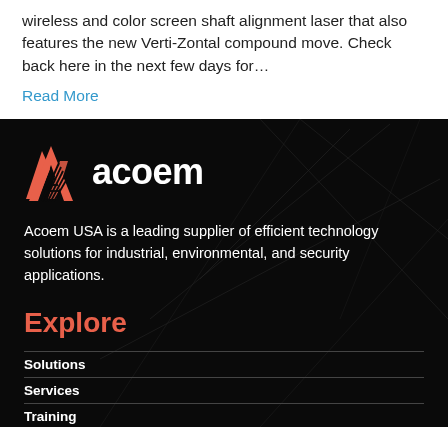wireless and color screen shaft alignment laser that also features the new Verti-Zontal compound move. Check back here in the next few days for…
Read More
[Figure (logo): Acoem logo with orange/red triangular chevron icon and white 'acoem' wordmark on dark background]
Acoem USA is a leading supplier of efficient technology solutions for industrial, environmental, and security applications.
Explore
Solutions
Services
Training
Shop